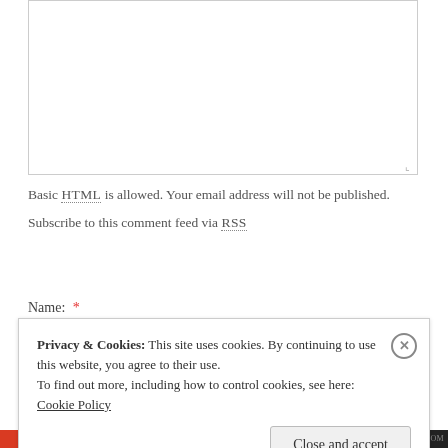[Figure (other): Empty textarea input box with resize handle in bottom-right corner]
Basic HTML is allowed. Your email address will not be published.
Subscribe to this comment feed via RSS
Name: *
Privacy & Cookies: This site uses cookies. By continuing to use this website, you agree to their use.
To find out more, including how to control cookies, see here: Cookie Policy
Close and accept